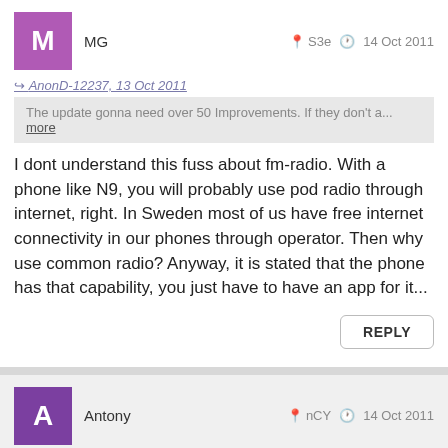MG — S3e — 14 Oct 2011
AnonD-12237, 13 Oct 2011
The update gonna need over 50 Improvements. If they don't a... more
I dont understand this fuss about fm-radio. With a phone like N9, you will probably use pod radio through internet, right. In Sweden most of us have free internet connectivity in our phones through operator. Then why use common radio? Anyway, it is stated that the phone has that capability, you just have to have an app for it...
REPLY
Antony — nCY — 14 Oct 2011
AnonD-26017, 14 Oct 2011
Just to finalize: One would normally expect that smartph... more